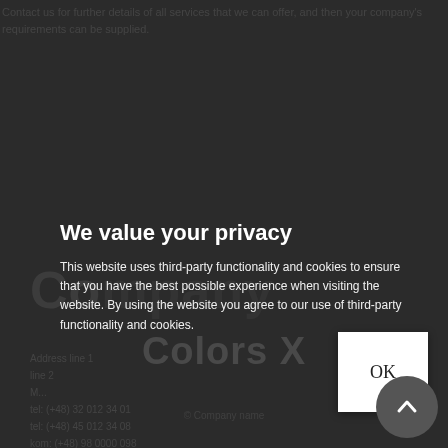Contact us for further details of all services that we can offer, and then your company's requirements can be supplied.
We value your privacy
This website uses third-party functionality and cookies to ensure that you have the best possible experience when visiting the website. By using the website you agree to our use of third-party functionality and cookies.
OK
Colors